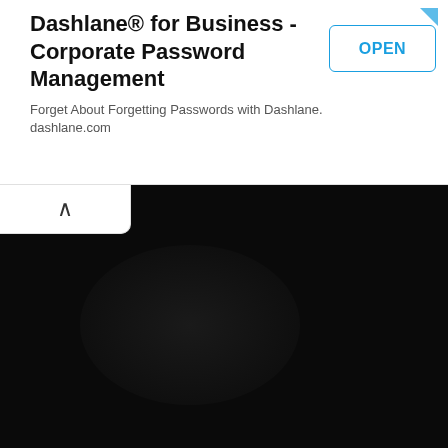Dashlane® for Business - Corporate Password Management
Forget About Forgetting Passwords with Dashlane. dashlane.com
[Figure (screenshot): OPEN button with cyan/blue border on white background, part of a mobile app advertisement for Dashlane]
[Figure (screenshot): Dark/black area representing a minimized or collapsed mobile app screen below the ad banner, with a white collapse tab containing an upward chevron arrow at top-left]